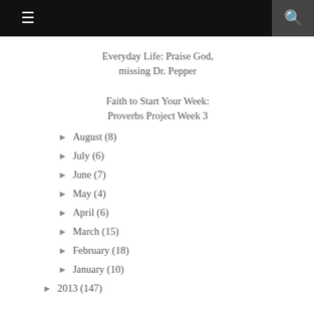≡  🔍
Everyday Life: Praise God, missing Dr. Pepper
Faith to Start Your Week: Proverbs Project Week 3
► August (8)
► July (6)
► June (7)
► May (4)
► April (6)
► March (15)
► February (18)
► January (10)
► 2013 (147)